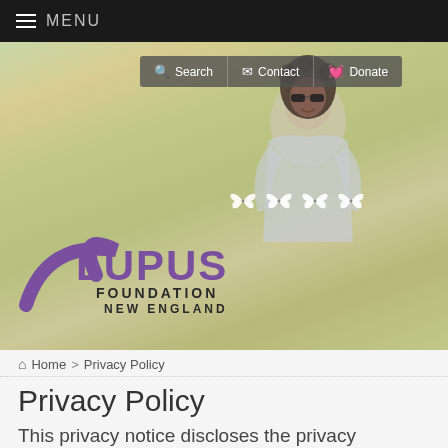MENU
[Figure (screenshot): Website header with hero image of a smiling woman outdoors, navigation buttons (Search, Contact, Donate), Lupus Foundation New England logo with butterfly motifs]
Home > Privacy Policy
Privacy Policy
This privacy notice discloses the privacy practices for Lupus Foundation of New England. This privacy notice applies solely